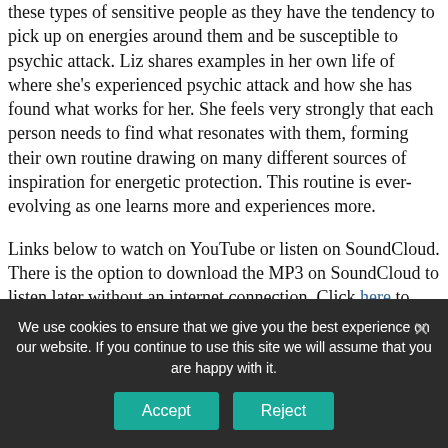these types of sensitive people as they have the tendency to pick up on energies around them and be susceptible to psychic attack. Liz shares examples in her own life of where she's experienced psychic attack and how she has found what works for her. She feels very strongly that each person needs to find what resonates with them, forming their own routine drawing on many different sources of inspiration for energetic protection. This routine is ever-evolving as one learns more and experiences more.
Links below to watch on YouTube or listen on SoundCloud. There is the option to download the MP3 on SoundCloud to listen later without an internet connection. Click here to listen in Insight Timer.
We use cookies to ensure that we give you the best experience on our website. If you continue to use this site we will assume that you are happy with it.